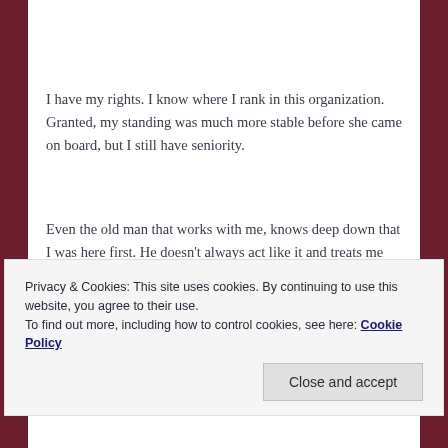I have my rights. I know where I rank in this organization. Granted, my standing was much more stable before she came on board, but I still have seniority.
Even the old man that works with me, knows deep down that I was here first. He doesn't always act like it and treats me like he's my supervisor just because he's older. I try to remind him now and then that I was here long before him.
Privacy & Cookies: This site uses cookies. By continuing to use this website, you agree to their use.
To find out more, including how to control cookies, see here: Cookie Policy
Close and accept